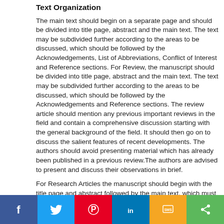Text Organization
The main text should begin on a separate page and should be divided into title page, abstract and the main text. The text may be subdivided further according to the areas to be discussed, which should be followed by the Acknowledgements, List of Abbreviations, Conflict of Interest and Reference sections. For Review, the manuscript should be divided into title page, abstract and the main text. The text may be subdivided further according to the areas to be discussed, which should be followed by the Acknowledgements and Reference sections. The review article should mention any previous important reviews in the field and contain a comprehensive discussion starting with the general background of the field. It should then go on to discuss the salient features of recent developments. The authors should avoid presenting material which has already been published in a previous review.The authors are advised to present and discuss their observations in brief.
For Research Articles the manuscript should begin with the title page and abstract followed by the main text, which must be structured into separate sections as Introduction, Materials and Methods, Results, Discussion, Conclusion, Ethics Approval and